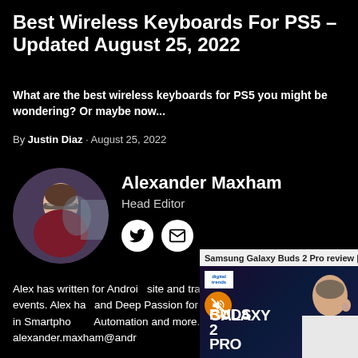Best Wireless Keyboards For PS5 – Updated August 25, 2022
What are the best wireless keyboards for PS5 you might be wondering? Or maybe now...
By Justin Diaz · August 25, 2022
Alexander Maxham
Head Editor
[Figure (photo): Circular avatar photo of Alexander Maxham, a young man with glasses wearing a dark red hoodie, with a conference/event backdrop]
[Figure (screenshot): Video overlay showing Samsung Galaxy Buds 2 Pro review from Digital Trends, with large white GALAXY BUDS 2 PRO text and a presenter holding an earbud]
Alex has written for Android... site and traveled the World... Technology events. Alex ha... and Deep Passion for Every... specialties lay in Smartpho... Automation and more. Cor... alexander.maxham@andr...